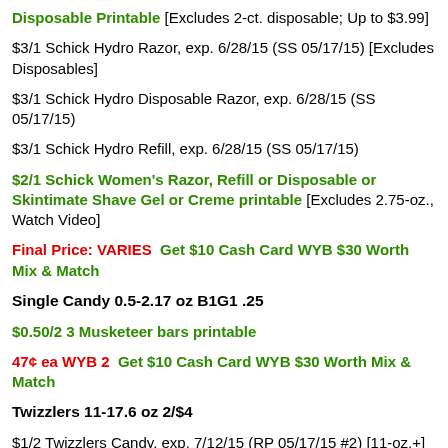Disposable Printable [Excludes 2-ct. disposable; Up to $3.99]
$3/1 Schick Hydro Razor, exp. 6/28/15 (SS 05/17/15) [Excludes Disposables]
$3/1 Schick Hydro Disposable Razor, exp. 6/28/15 (SS 05/17/15)
$3/1 Schick Hydro Refill, exp. 6/28/15 (SS 05/17/15)
$2/1 Schick Women's Razor, Refill or Disposable or Skintimate Shave Gel or Creme printable [Excludes 2.75-oz., Watch Video]
Final Price: VARIES  Get $10 Cash Card WYB $30 Worth Mix & Match
Single Candy 0.5-2.17 oz B1G1 .25
$0.50/2 3 Musketeer bars printable
47¢ ea WYB 2  Get $10 Cash Card WYB $30 Worth Mix & Match
Twizzlers 11-17.6 oz 2/$4
$1/2 Twizzlers Candy, exp. 7/12/15 (RP 05/17/15 #2) [11-oz.+]
Final price: $1.50  Get $10 Cash Card WYB $30 Worth Mix & Match
Theater Box Candy 4/$5